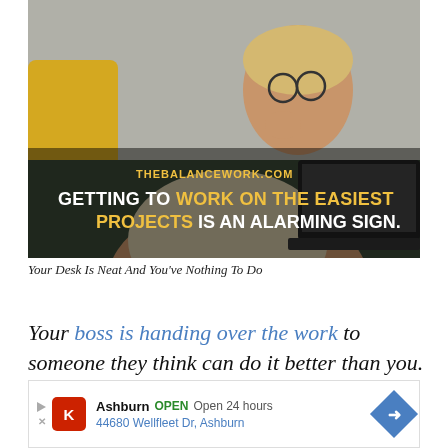[Figure (photo): Woman with glasses sitting on a couch with yellow cushion, looking at a laptop thoughtfully, with text overlay reading THEBALANCEWORK.COM and GETTING TO WORK ON THE EASIEST PROJECTS IS AN ALARMING SIGN.]
Your Desk Is Neat And You’ve Nothing To Do
Your boss is handing over the work to someone they think can do it better than you.
[Figure (infographic): Advertisement bar showing Ashburn OPEN Open 24 hours 44680 Wellfleet Dr, Ashburn with navigation arrow icon]